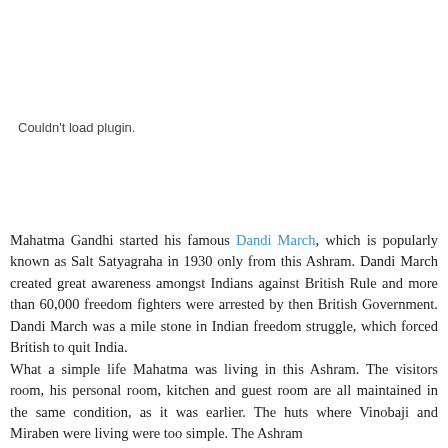[Figure (other): Couldn't load plugin. placeholder area]
Mahatma Gandhi started his famous Dandi March, which is popularly known as Salt Satyagraha in 1930 only from this Ashram. Dandi March created great awareness amongst Indians against British Rule and more than 60,000 freedom fighters were arrested by then British Government. Dandi March was a mile stone in Indian freedom struggle, which forced British to quit India. What a simple life Mahatma was living in this Ashram. The visitors room, his personal room, kitchen and guest room are all maintained in the same condition, as it was earlier. The huts where Vinobaji and Miraben were living were too simple. The Ashram